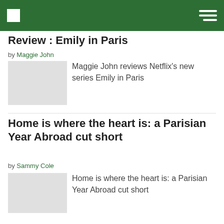Review : Emily in Paris
by Maggie John
Maggie John reviews Netflix's new series Emily in Paris
Home is where the heart is: a Parisian Year Abroad cut short
by Sammy Cole
Home is where the heart is: a Parisian Year Abroad cut short